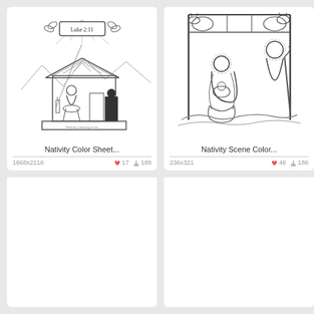[Figure (illustration): Nativity coloring sheet line drawing showing a stable scene with 'Luke 2:11' banner, star, hills, and figures with baby]
Nativity Color Sheet...
1668x2116   ♥ 17   ⬇ 188
[Figure (illustration): Nativity scene coloring sheet line drawing showing Mary, Joseph, baby Jesus, and animals in a stable]
Nativity Scene Color...
236x321   ♥ 46   ⬇ 186
[Figure (illustration): Blank/loading card placeholder (bottom left)]
[Figure (illustration): Blank/loading card placeholder (bottom right)]